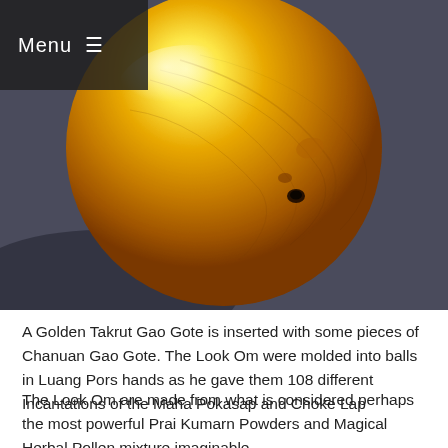Menu ≡
[Figure (photo): A golden spherical ball (Look Om) photographed close-up against a dark gray/slate background. The ball has a bright gold color with textured surface and a small hole visible near the center.]
A Golden Takrut Gao Gote is inserted with some pieces of Chanuan Gao Gote. The Look Om were molded into balls in Luang Pors hands as he gave them 108 different Incantations of the Maha Pokasap and Choke Lap
The Look Om are made from what is considered perhaps the most powerful Prai Kumarn Powders and Magical Herbal Pollen mixture imaginable.